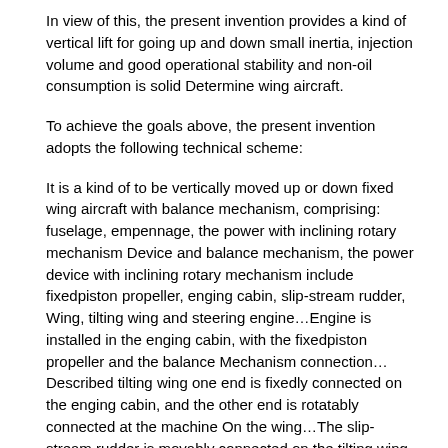In view of this, the present invention provides a kind of vertical lift for going up and down small inertia, injection volume and good operational stability and non-oil consumption is solid Determine wing aircraft.
To achieve the goals above, the present invention adopts the following technical scheme:
It is a kind of to be vertically moved up or down fixed wing aircraft with balance mechanism, comprising: fuselage, empennage, the power with inclining rotary mechanism Device and balance mechanism, the power device with inclining rotary mechanism include fixedpiston propeller, enging cabin, slip-stream rudder, Wing, tilting wing and steering engine…Engine is installed in the enging cabin, with the fixedpiston propeller and the balance Mechanism connection…Described tilting wing one end is fixedly connected on the enging cabin, and the other end is rotatably connected at the machine On the wing…The slip-stream rudder is movably connected on the tilting wing, slip-stream rudder described in the servo driving…It is described to have the machine that verts The power device of structure is symmetrically disposed on the fuselage two